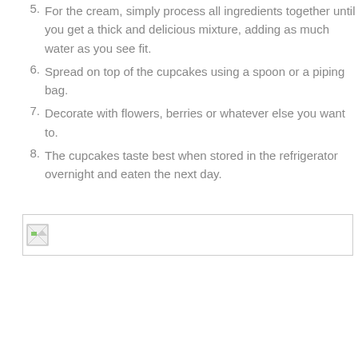5. For the cream, simply process all ingredients together until you get a thick and delicious mixture, adding as much water as you see fit.
6. Spread on top of the cupcakes using a spoon or a piping bag.
7. Decorate with flowers, berries or whatever else you want to.
8. The cupcakes taste best when stored in the refrigerator overnight and eaten the next day.
[Figure (photo): Broken/unloaded image placeholder shown with border]